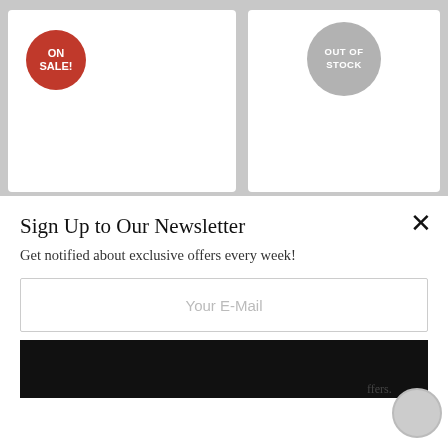[Figure (screenshot): Background product card with ON SALE badge (red circle)]
[Figure (screenshot): Background product card with OUT OF STOCK badge (grey circle)]
Sign Up to Our Newsletter
Get notified about exclusive offers every week!
Your E-Mail
offers.
nics Card, HoloBlack, orm 2.0 Advanced ng, Spectra 2.0 RGB Lighting, ZT-A30910B-10P
In order to provide you a personalized shopping experience, our site uses cookies. By continuing to use this site, you are agreeing to our cookie policy.
ACCEPT
USD